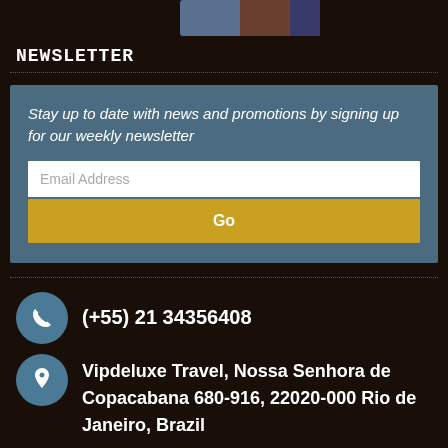[Figure (photo): Top strip showing partial image of a person, cropped]
NEWSLETTER
Stay up to date with news and promotions by signing up for our weekly newsletter
Email Address
Go
(+55) 21 34356408
Vipdeluxe Travel, Nossa Senhora de Copacabana 680-916, 22020-000 Rio de Janeiro, Brazil